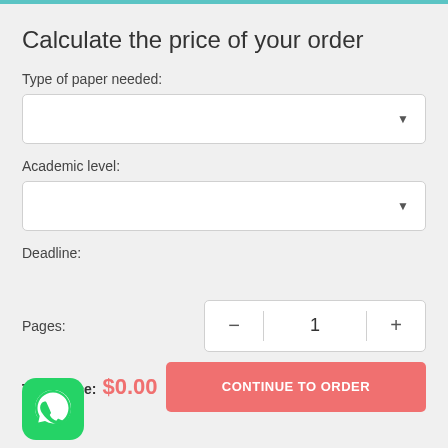Calculate the price of your order
Type of paper needed:
Academic level:
Deadline:
Pages:
Total price:  $0.00
CONTINUE TO ORDER
[Figure (logo): WhatsApp green logo icon]